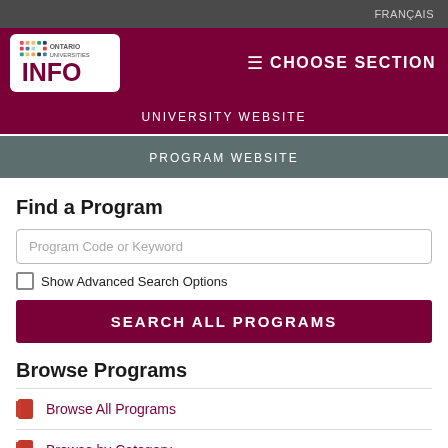FRANÇAIS
[Figure (logo): Ontario Universities INFO logo with colored dot grid and text]
≡  CHOOSE SECTION
UNIVERSITY WEBSITE
PROGRAM WEBSITE
Find a Program
Program Code or Keyword
Show Advanced Search Options
SEARCH ALL PROGRAMS
Browse Programs
Browse All Programs
Browse by Category